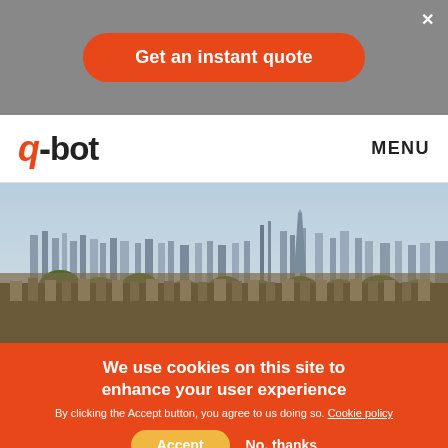×
Get an instant quote
[Figure (logo): q-bot logo with red italic q, dash, and bot text in dark]
MENU
[Figure (photo): Aerial panoramic view of London skyline with buildings and city sprawl under hazy sky]
We use cookies on this site to enhance your user experience
By clicking the Accept button, you agree to us doing so. Cookie policy
Accept
No, thanks